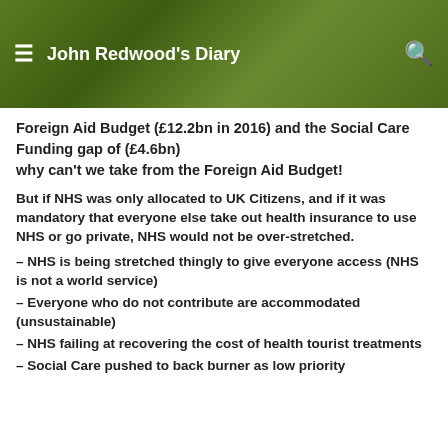John Redwood's Diary
Foreign Aid Budget (£12.2bn in 2016) and the Social Care Funding gap of (£4.6bn)
why can't we take from the Foreign Aid Budget!
But if NHS was only allocated to UK Citizens, and if it was mandatory that everyone else take out health insurance to use NHS or go private, NHS would not be over-stretched.
– NHS is being stretched thingly to give everyone access (NHS is not a world service)
– Everyone who do not contribute are accommodated (unsustainable)
– NHS failing at recovering the cost of health tourist treatments
– Social Care pushed to back burner as low priority